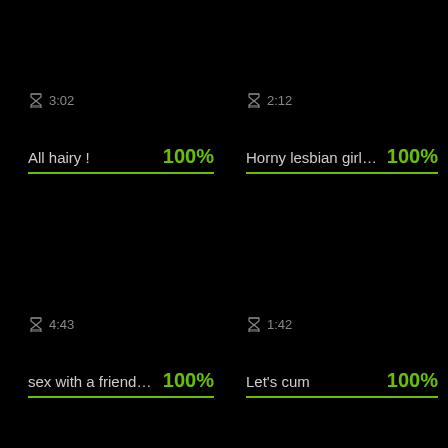⌛ 3:02
All hairy ! 100%
⌛ 2:12
Horny lesbian girls lic… 100%
⌛ 4:43
sex with a friend in b… 100%
⌛ 1:42
Let's cum 100%